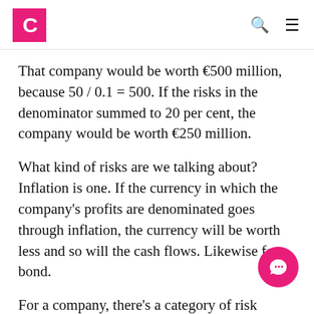Capsim logo, search icon, menu icon
That company would be worth €500 million, because 50 / 0.1 = 500. If the risks in the denominator summed to 20 per cent, the company would be worth €250 million.
What kind of risks are we talking about? Inflation is one. If the currency in which the company's profits are denominated goes through inflation, the currency will be worth less and so will the cash flows. Likewise for a bond.
For a company, there's a category of risk